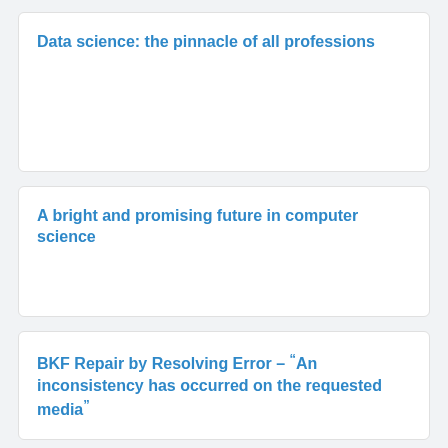Data science: the pinnacle of all professions
A bright and promising future in computer science
BKF Repair by Resolving Error – "An inconsistency has occurred on the requested media"
Copyright © 2022 ABCAdda.com